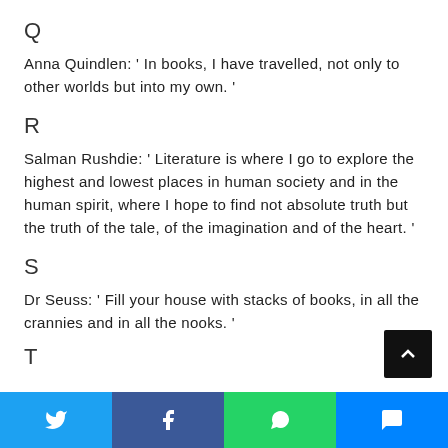Q
Anna Quindlen: ' In books, I have travelled, not only to other worlds but into my own. '
R
Salman Rushdie: ' Literature is where I go to explore the highest and lowest places in human society and in the human spirit, where I hope to find not absolute truth but the truth of the tale, of the imagination and of the heart. '
S
Dr Seuss: ' Fill your house with stacks of books, in all the crannies and in all the nooks. '
T
Twitter | Facebook | WhatsApp | Messenger